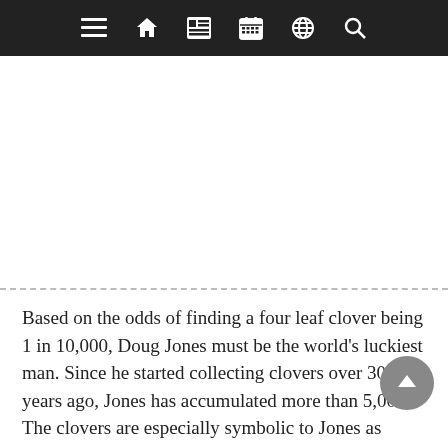[navigation bar with menu, home, news, calendar, globe, and search icons]
[Figure (other): Advertisement area — blank white space below navigation bar]
Based on the odds of finding a four leaf clover being 1 in 10,000, Doug Jones must be the world's luckiest man. Since he started collecting clovers over 30 years ago, Jones has accumulated more than 5,000. The clovers are especially symbolic to Jones as finding them has always raised his spirits up from the deepest of lows. Now through his self-started business of 4 Leaf 4